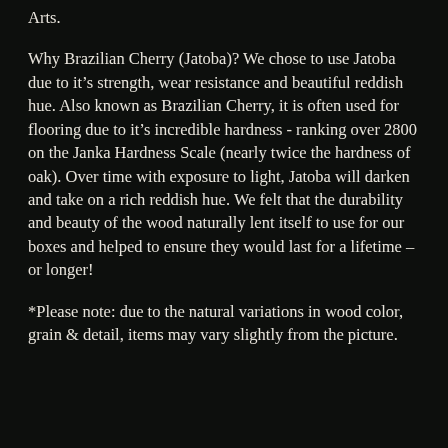Arts.
Why Brazilian Cherry (Jatoba)? We chose to use Jatoba due to it’s strength, wear resistance and beautiful reddish hue. Also known as Brazilian Cherry, it is often used for flooring due to it’s incredible hardness - ranking over 2800 on the Janka Hardness Scale (nearly twice the hardness of oak). Over time with exposure to light, Jatoba will darken and take on a rich reddish hue. We felt that the durability and beauty of the wood naturally lent itself to use for our boxes and helped to ensure they would last for a lifetime – or longer!
*Please note: due to the natural variations in wood color, grain & detail, items may vary slightly from the picture.